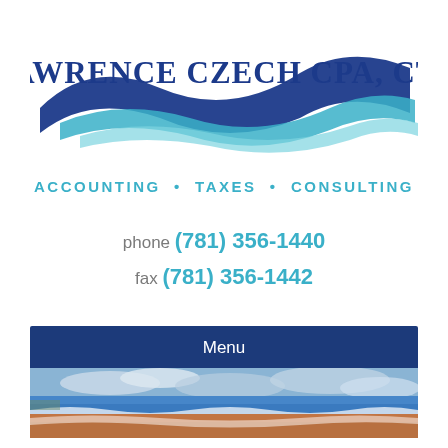[Figure (logo): Lawrence Czech CPA, CTP logo with dark blue text and blue wave/swoosh graphic above the text]
ACCOUNTING • TAXES • CONSULTING
phone (781) 356-1440
fax (781) 356-1442
Menu
[Figure (photo): Beach scene with sandy shore, ocean waves, and cloudy sky]